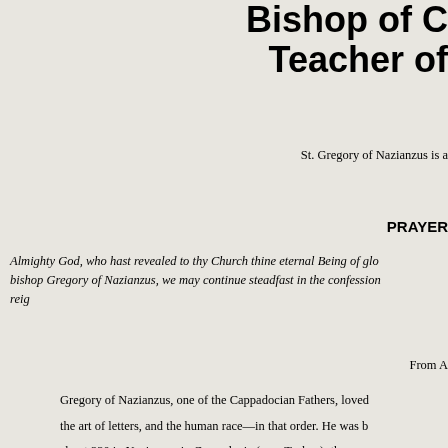Bishop of C... Teacher of...
St. Gregory of Nazianzus is a...
PRAYER
Almighty God, who hast revealed to thy Church thine eternal Being of glo... bishop Gregory of Nazianzus, we may continue steadfast in the confession... reig...
From ...
Gregory of Nazianzus, one of the Cappadocian Fathers, loved... the art of letters, and the human race—in that order. He was b... about 330 in Nazianzus in Cappadocia (now Turkey), the son o... local bishop. He studied rhetoric in Athens with his friend Basil...